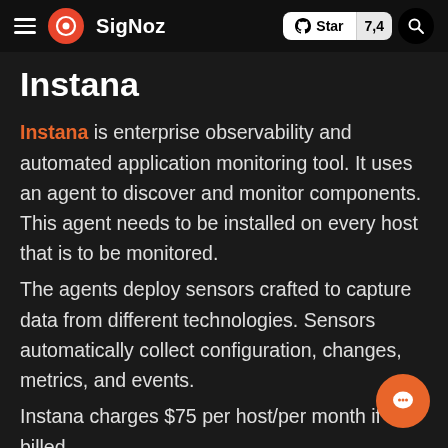SigNoz — Star 7,4 [navigation bar with logo]
Instana
Instana is enterprise observability and automated application monitoring tool. It uses an agent to discover and monitor components. This agent needs to be installed on every host that is to be monitored.
The agents deploy sensors crafted to capture data from different technologies. Sensors automatically collect configuration, changes, metrics, and events.
Instana charges $75 per host/per month if billed